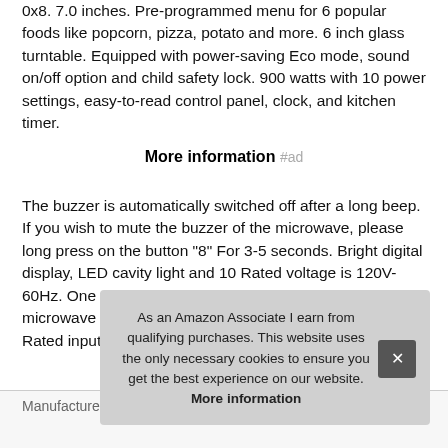0x8. 7.0 inches. Pre-programmed menu for 6 popular foods like popcorn, pizza, potato and more. 6 inch glass turntable. Equipped with power-saving Eco mode, sound on/off option and child safety lock. 900 watts with 10 power settings, easy-to-read control panel, clock, and kitchen timer.
More information #ad
The buzzer is automatically switched off after a long beep. If you wish to mute the buzzer of the microwave, please long press on the button "8" For 3-5 seconds. Bright digital display, LED cavity light and 10 Rated voltage is 120V- 60Hz. One touch start - quick access to start the microwave from 1 to 6 minutes cooking at full power. Rated input Pow
As an Amazon Associate I earn from qualifying purchases. This website uses the only necessary cookies to ensure you get the best experience on our website. More information
|  |  |
| --- | --- |
| Manufacturer | Toshiba #ad |